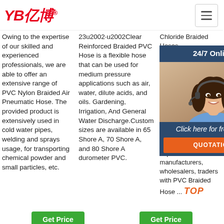[Figure (logo): YB亿博 company logo in red italic font with registered trademark symbol]
Owing to the expertise of our skilled and experienced professionals, we are able to offer an extensive range of PVC Nylon Braided Air Pneumatic Hose. The provided product is extensively used in cold water pipes, welding and sprays usage, for transporting chemical powder and small particles, etc.
23u2002·u2002Clear Reinforced Braided PVC Hose is a flexible hose that can be used for medium pressure applications such as air, water, dilute acids, and oils. Gardening, Irrigation, And General Water Discharge.Custom sizes are available in 65 Shore A, 70 Shore A, and 80 Shore A durometer PVC.
Chloride Braided Hoses manufacturers, suppliers, exporters China, NaCl... their products & a... here... Hose... Poly Bra... suppliers, manufacturers, wholesalers, traders with PVC Braided Hose ...
[Figure (infographic): 24/7 Online chat widget with woman wearing headset, 'Click here for free chat!' text and orange QUOTATION button]
[Figure (logo): TOP logo in orange italic font]
Get Price